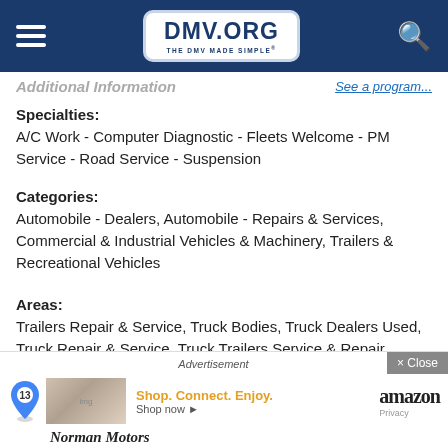[Figure (screenshot): DMV.ORG website navigation bar with hamburger menu, DMV.ORG logo, and search icon on dark blue background]
Additional Information   See a program...
Specialties:
A/C Work - Computer Diagnostic - Fleets Welcome - PM Service - Road Service - Suspension
Categories:
Automobile - Dealers, Automobile - Repairs & Services, Commercial & Industrial Vehicles & Machinery, Trailers & Recreational Vehicles
Areas:
Trailers Repair & Service, Truck Bodies, Truck Dealers Used, Truck Repair & Service, Truck Trailers Service & Repair
Advertisement
Shop. Connect. Enjoy. Shop now ▸   amazon   Privacy
Norman Motors